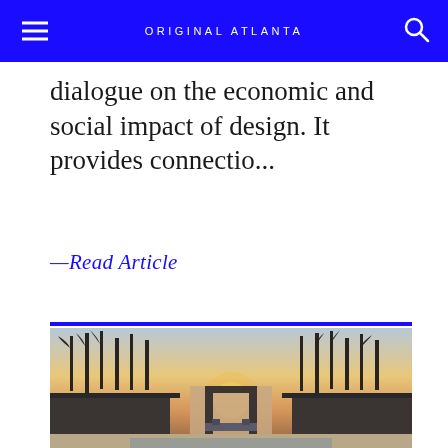ORIGINAL ATLANTA
dialogue on the economic and social impact of design. It provides connectio...
—Read Article
[Figure (photo): Exterior photo of a modern home with tall trees in the background, taken at dusk/sunset. The home has an open courtyard design with outdoor seating visible and dark framed walls.]